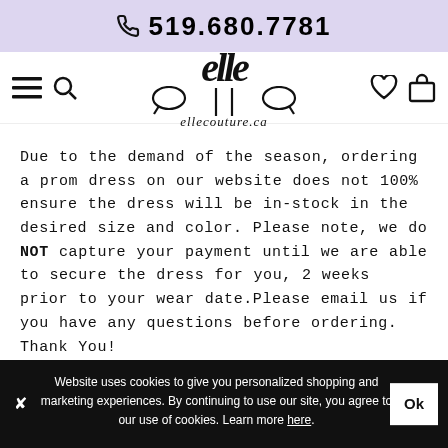519.680.7781
[Figure (logo): Elle Couture logo with text ellecouture.ca and navigation icons (hamburger menu, search, heart, bag)]
Due to the demand of the season, ordering a prom dress on our website does not 100% ensure the dress will be in-stock in the desired size and color. Please note, we do NOT capture your payment until we are able to secure the dress for you, 2 weeks prior to your wear date.Please email us if you have any questions before ordering. Thank You!
Website uses cookies to give you personalized shopping and marketing experiences. By continuing to use our site, you agree to our use of cookies. Learn more here.